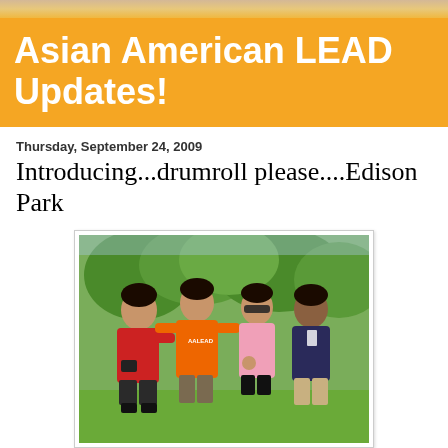Asian American LEAD Updates!
Thursday, September 24, 2009
Introducing...drumroll please....Edison Park
[Figure (photo): Four young people standing outdoors in a park, posing together. From left: person in red shirt with camera, person in orange AALEAD shirt, person in pink top with sunglasses, person in dark tank top. Green trees in background.]